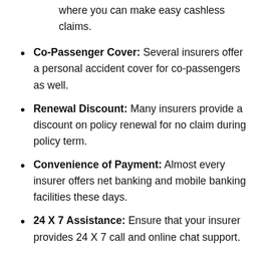where you can make easy cashless claims.
Co-Passenger Cover: Several insurers offer a personal accident cover for co-passengers as well.
Renewal Discount: Many insurers provide a discount on policy renewal for no claim during policy term.
Convenience of Payment: Almost every insurer offers net banking and mobile banking facilities these days.
24 X 7 Assistance: Ensure that your insurer provides 24 X 7 call and online chat support.